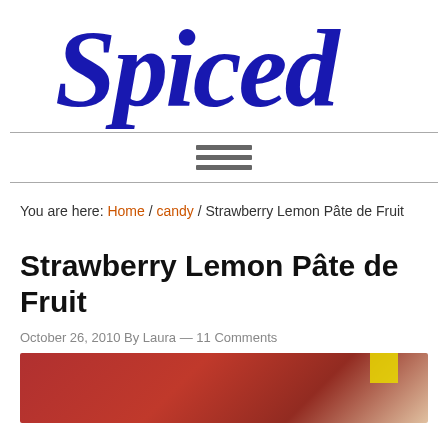Spiced
[Figure (other): Hamburger/menu icon with three horizontal lines]
You are here: Home / candy / Strawberry Lemon Pâte de Fruit
Strawberry Lemon Pâte de Fruit
October 26, 2010 By Laura — 11 Comments
[Figure (photo): Close-up photo of red strawberry lemon pâte de fruit candy with a yellow piece visible at top right]